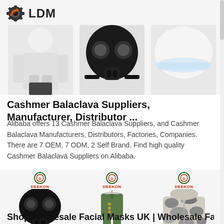[Figure (logo): LDM logo with gear icon and bold text LDM]
[Figure (photo): Three product images at top: white protective suit, black gas mask, white safety helmet — shown against light grey background]
Cashmer Balaclava Suppliers, Manufacturer, Distributor ...
Alibaba offers 13 Cashmer Balaclava Suppliers, and Cashmer Balaclava Manufacturers, Distributors, Factories, Companies. There are 7 OEM, 7 ODM, 2 Self Brand. Find high quality Cashmer Balaclava Suppliers on Alibaba.
[Figure (photo): Three Deekon-branded product images: black full-face gas mask, olive military dress uniform on hanger, grey/white camouflage jacket]
Shop Wholesale Facial Masks UK | Wholesale Facial Masks